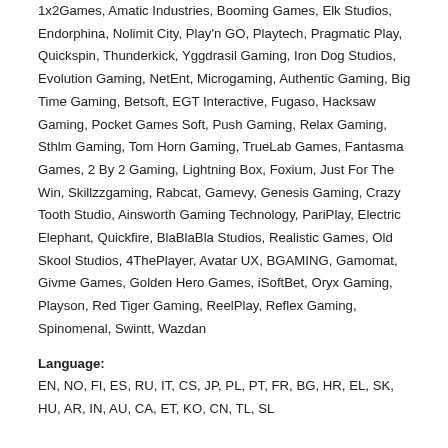1x2Games, Amatic Industries, Booming Games, Elk Studios, Endorphina, Nolimit City, Play'n GO, Playtech, Pragmatic Play, Quickspin, Thunderkick, Yggdrasil Gaming, Iron Dog Studios, Evolution Gaming, NetEnt, Microgaming, Authentic Gaming, Big Time Gaming, Betsoft, EGT Interactive, Fugaso, Hacksaw Gaming, Pocket Games Soft, Push Gaming, Relax Gaming, Sthlm Gaming, Tom Horn Gaming, TrueLab Games, Fantasma Games, 2 By 2 Gaming, Lightning Box, Foxium, Just For The Win, Skillzzgaming, Rabcat, Gamevy, Genesis Gaming, Crazy Tooth Studio, Ainsworth Gaming Technology, PariPlay, Electric Elephant, Quickfire, BlaBlaBla Studios, Realistic Games, Old Skool Studios, 4ThePlayer, Avatar UX, BGAMING, Gamomat, Givme Games, Golden Hero Games, iSoftBet, Oryx Gaming, Playson, Red Tiger Gaming, ReelPlay, Reflex Gaming, Spinomenal, Swintt, Wazdan
Language:
EN, NO, FI, ES, RU, IT, CS, JP, PL, PT, FR, BG, HR, EL, SK, HU, AR, IN, AU, CA, ET, KO, CN, TL, SL